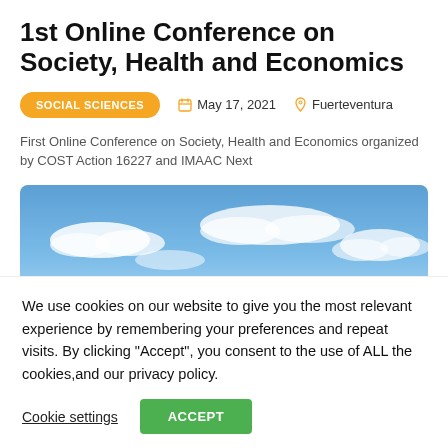1st Online Conference on Society, Health and Economics
SOCIAL SCIENCES   May 17, 2021   Fuerteventura
First Online Conference on Society, Health and Economics organized by COST Action 16227 and IMAAC Next
[Figure (photo): Blue sky with white clouds, wide panoramic banner image]
We use cookies on our website to give you the most relevant experience by remembering your preferences and repeat visits. By clicking “Accept”, you consent to the use of ALL the cookies,and our privacy policy.
Cookie settings   ACCEPT